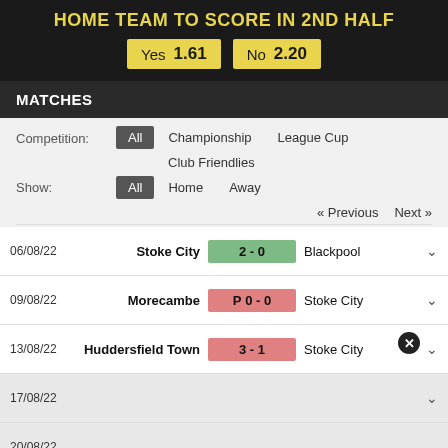HOME TEAM TO SCORE IN 2ND HALF
Yes 1.61   No 2.20
MATCHES
Competition: All  Championship  League Cup  Club Friendlies
Show: All  Home  Away
« Previous   Next »
| Date | Home Team | Score | Away Team |
| --- | --- | --- | --- |
| 06/08/22 | Stoke City | 2 - 0 | Blackpool |
| 09/08/22 | Morecambe | P 0 - 0 | Stoke City |
| 13/08/22 | Huddersfield Town | 3 - 1 | Stoke City |
| 17/08/22 |  |  |  |
| 20/08/22 |  |  |  |
| 27/08/22 |  |  |  |
Back To School Shopping Deals
Leesburg Premium Outlets